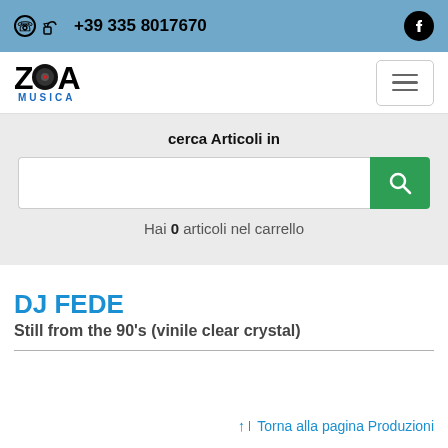+39 335 8017670
[Figure (logo): ZDA MUSICA logo with vinyl record graphic]
cerca Articoli in
Hai 0 articoli nel carrello
DJ FEDE
Still from the 90's (vinile clear crystal)
↑ Torna alla pagina Produzioni